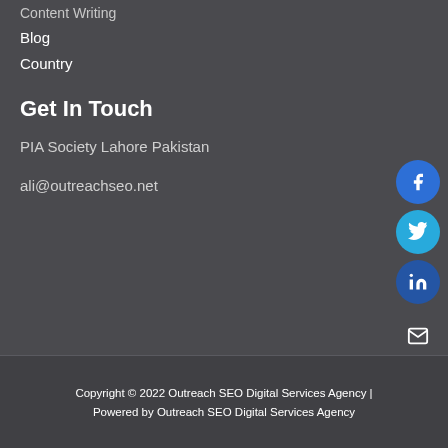Content Writing
Blog
Country
Get In Touch
PIA Society Lahore Pakistan
ali@outreachseo.net
Copyright © 2022 Outreach SEO Digital Services Agency | Powered by Outreach SEO Digital Services Agency